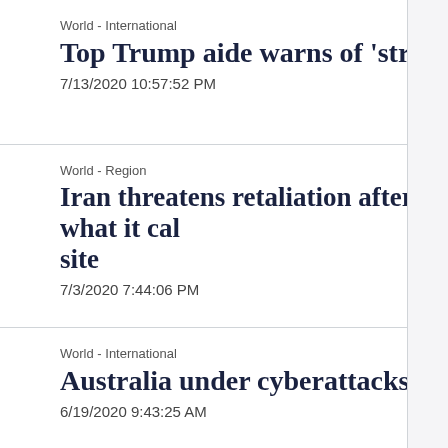World - International
Top Trump aide warns of 'strong actions'
7/13/2020 10:57:52 PM
World - Region
Iran threatens retaliation after what it cal... site
7/3/2020 7:44:06 PM
World - International
Australia under cyberattacks from state a...
6/19/2020 9:43:25 AM
World - Region
Iran oil industry must be alert to physica...